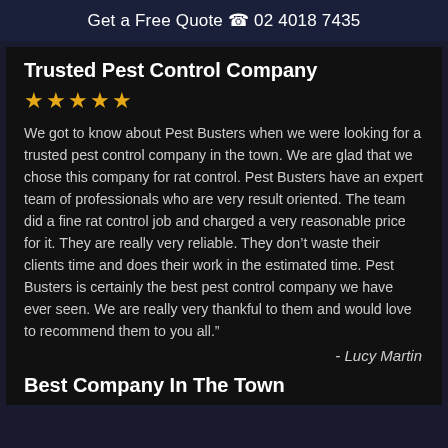Get a Free Quote 📞 02 4018 7435
Trusted Pest Control Company
★★★★★
We got to know about Pest Busters when we were looking for a trusted pest control company in the town. We are glad that we chose this company for rat control. Pest Busters have an expert team of professionals who are very result oriented. The team did a fine rat control job and charged a very reasonable price for it. They are really very reliable. They don't waste their clients time and does their work in the estimated time. Pest Busters is certainly the best pest control company we have ever seen. We are really very thankful to them and would love to recommend them to you all."
- Lucy Martin
Best Company In The Town